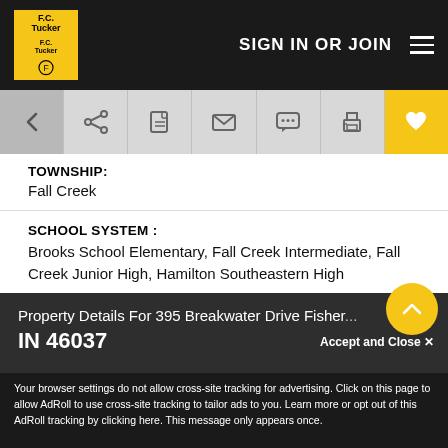F.C. Tucker — SIGN IN OR JOIN
TOWNSHIP:
Fall Creek
SCHOOL SYSTEM :
Brooks School Elementary, Fall Creek Intermediate, Fall Creek Junior High, Hamilton Southeastern High
MLS #:
21779472
PROPERTY TYPE:
Single Family Residence
Property Details For 395 Breakwater Drive Fisher...
IN 46037
Accept and Close ✕
Your browser settings do not allow cross-site tracking for advertising. Click on this page to allow AdRoll to use cross-site tracking to tailor ads to you. Learn more or opt out of this AdRoll tracking by clicking here. This message only appears once.